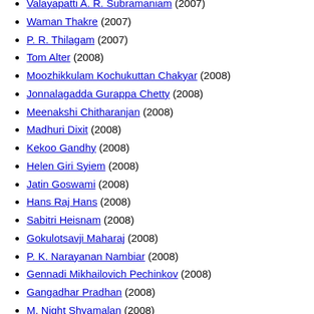Valayapatti A. R. Subramaniam (2007)
Waman Thakre (2007)
P. R. Thilagam (2007)
Tom Alter (2008)
Moozhikkulam Kochukuttan Chakyar (2008)
Jonnalagadda Gurappa Chetty (2008)
Meenakshi Chitharanjan (2008)
Madhuri Dixit (2008)
Kekoo Gandhy (2008)
Helen Giri Syiem (2008)
Jatin Goswami (2008)
Hans Raj Hans (2008)
Sabitri Heisnam (2008)
Gokulotsavji Maharaj (2008)
P. K. Narayanan Nambiar (2008)
Gennadi Mikhailovich Pechinkov (2008)
Gangadhar Pradhan (2008)
M. Night Shyamalan (2008)
Sirkazhi G. Sivachidambaram (2008)
Jawahar Wattal (2008)
Ameena Ahmad Ahuja (2009)
Aishwarya Rai Bachchan (2009)
Hemi Bawa (2009)
Brahmanandam (2009)
Devayani (dancer) (2009)